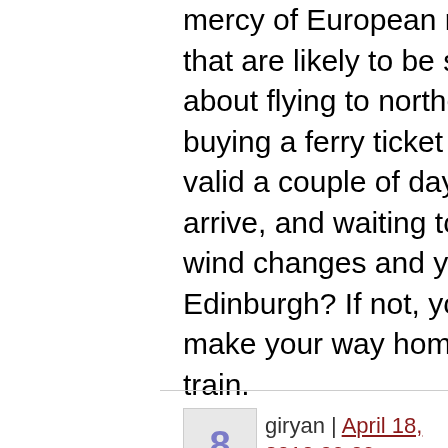mercy of European rail services that are likely to be swamped. How about flying to northern Spain, buying a ferry ticket for Portsmouth valid a couple of days after you arrive, and waiting to see if the wind changes and you can fly into Edinburgh? If not, you could then make your way home by ferry and train.
giryan | April 18, 2010 09:09
23:
If you stay for a definite period in Japan, then